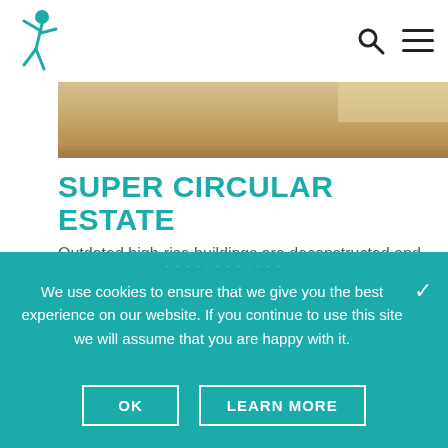[Figure (logo): Teal jumping figure logo]
[Figure (photo): Partial outdoor/construction scene photo, sandy/earthy tones]
SUPER CIRCULAR ESTATE
Outdated high-rise buildings are deconstructed and the recovered materials reused to build sustainable, modern social housing units, with low carbon footprints.
We use cookies to ensure that we give you the best experience on our website. If you continue to use this site we will assume that you are happy with it.